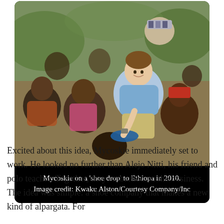[Figure (photo): A young man (Mycoskie) smiling and kneeling outdoors, surrounded by African children, appearing to fit shoes on one of them. The setting appears to be rural Ethiopia.]
Mycoskie on a 'shoe drop' to Ethiopa in 2010. Image credit: Kwaku Alston/Courtesy Company/Inc
Excited about this idea, Mycoskie immediately set to work. He looked no further than Alejo Nitti, his friend and polo teacher. Together, they embarked on the business. The idea was simple: a shoe company that makes a new kind of alpargata. For